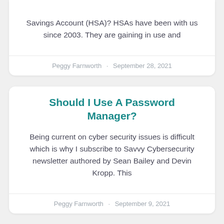Savings Account (HSA)? HSAs have been with us since 2003. They are gaining in use and
Peggy Farnworth · September 28, 2021
Should I Use A Password Manager?
Being current on cyber security issues is difficult which is why I subscribe to Savvy Cybersecurity newsletter authored by Sean Bailey and Devin Kropp. This
Peggy Farnworth · September 9, 2021